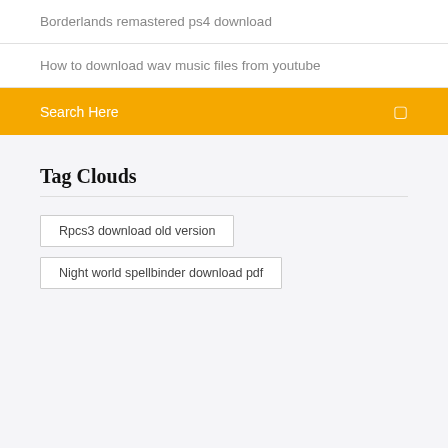Borderlands remastered ps4 download
How to download wav music files from youtube
Search Here
Tag Clouds
Rpcs3 download old version
Night world spellbinder download pdf